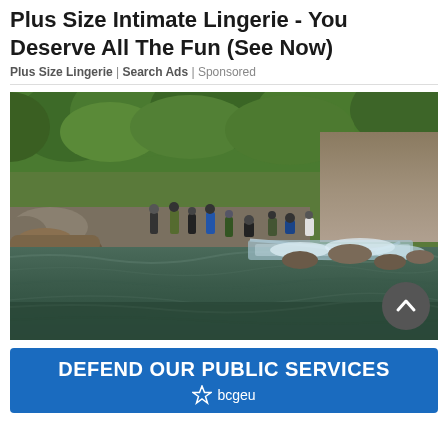Plus Size Intimate Lingerie - You Deserve All The Fun (See Now)
Plus Size Lingerie | Search Ads | Sponsored
[Figure (photo): Outdoor river scene with a group of people on the rocky bank beside flowing water, surrounded by green trees and a rocky cliff in the background.]
DEFEND OUR PUBLIC SERVICES bcgeu